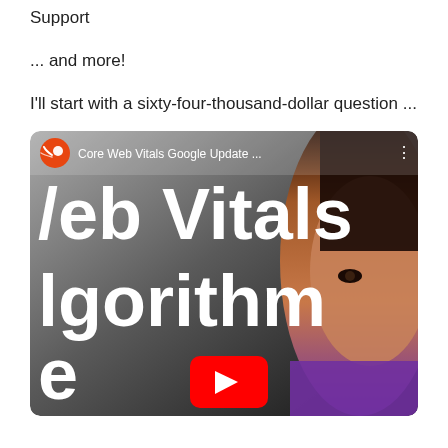Support
... and more!
I'll start with a sixty-four-thousand-dollar question ...
[Figure (screenshot): YouTube video thumbnail for 'Core Web Vitals Google Update ...' showing large bold text 'Web Vitals Algorithm' partially cropped, a woman's face on the right, orange comet channel icon in top-left, and a red YouTube play button at the bottom center.]